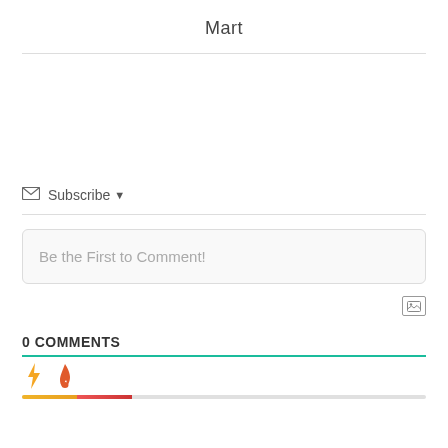Mart
Subscribe ▾
Be the First to Comment!
0 COMMENTS
[Figure (infographic): Two icons: a yellow lightning bolt and a red flame, with a short colored progress bar below them (yellow segment and red segment on a gray background).]